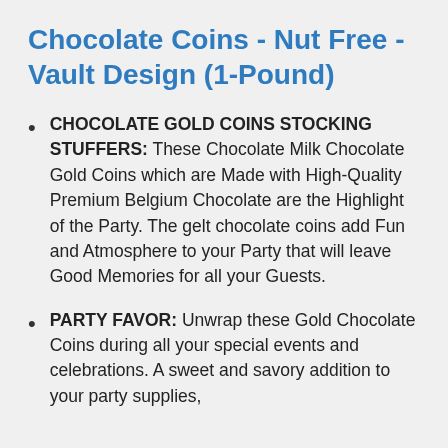Chocolate Coins - Nut Free - Vault Design (1-Pound)
CHOCOLATE GOLD COINS STOCKING STUFFERS: These Chocolate Milk Chocolate Gold Coins which are Made with High-Quality Premium Belgium Chocolate are the Highlight of the Party. The gelt chocolate coins add Fun and Atmosphere to your Party that will leave Good Memories for all your Guests.
PARTY FAVOR: Unwrap these Gold Chocolate Coins during all your special events and celebrations. A sweet and savory addition to your party supplies,